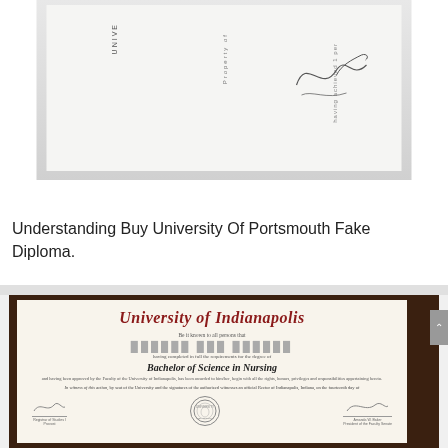[Figure (photo): Top photo showing a blurred/partial view of a diploma or certificate with vertical text columns and a signature scrawl visible on the right side, on a light gray background.]
Understanding Buy University Of Portsmouth Fake Diploma.
[Figure (photo): Photo of a University of Indianapolis Bachelor of Science in Nursing diploma certificate. The diploma shows the university name in red Gothic script at the top, a blurred recipient name, degree title 'Bachelor of Science in Nursing' in decorative script, body text, 'In witness of this action' clause, official seal at the bottom center, and signature blocks.]